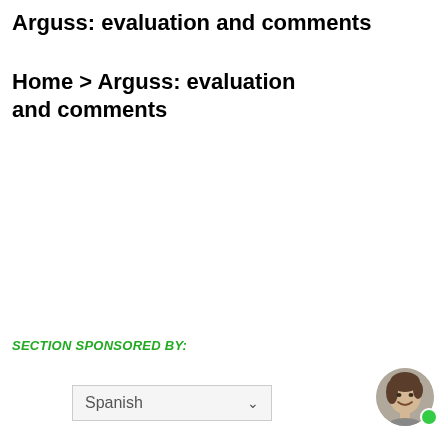Arguss: evaluation and comments
Home > Arguss: evaluation and comments
SECTION SPONSORED BY:
[Figure (other): Language selector dropdown showing 'Spanish' with a chevron arrow, light gray background with border]
[Figure (photo): Circular avatar photo of a person with short dark hair, smiling, with a green online status dot in the lower right]